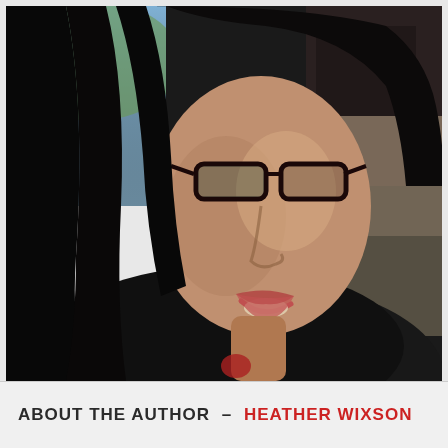[Figure (photo): Portrait photo of a woman with long dark hair and black-framed glasses, smiling, wearing a dark jacket. Background shows a blurred indoor setting with shelves and a window with blue sky visible.]
ABOUT THE AUTHOR – HEATHER WIXSON